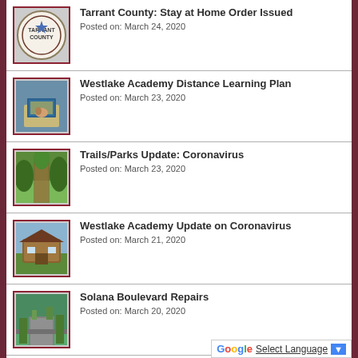[Figure (other): Tarrant County seal logo thumbnail]
Tarrant County: Stay at Home Order Issued
Posted on: March 24, 2020
[Figure (photo): Person using laptop computer thumbnail]
Westlake Academy Distance Learning Plan
Posted on: March 23, 2020
[Figure (photo): Trails/Parks outdoor path thumbnail]
Trails/Parks Update: Coronavirus
Posted on: March 23, 2020
[Figure (photo): Westlake Academy building thumbnail]
Westlake Academy Update on Coronavirus
Posted on: March 21, 2020
[Figure (photo): Solana Boulevard road thumbnail]
Solana Boulevard Repairs
Posted on: March 20, 2020
[Figure (other): Denton County seal logo thumbnail]
Denton County Issu...
Select Language (Google Translate widget)